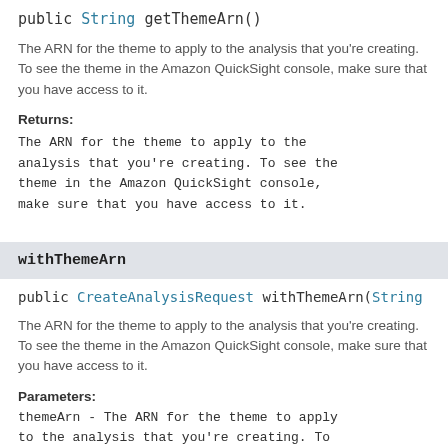public String getThemeArn()
The ARN for the theme to apply to the analysis that you're creating. To see the theme in the Amazon QuickSight console, make sure that you have access to it.
Returns:
The ARN for the theme to apply to the analysis that you're creating. To see the theme in the Amazon QuickSight console, make sure that you have access to it.
withThemeArn
public CreateAnalysisRequest withThemeArn(String
The ARN for the theme to apply to the analysis that you're creating. To see the theme in the Amazon QuickSight console, make sure that you have access to it.
Parameters:
themeArn - The ARN for the theme to apply to the analysis that you're creating. To